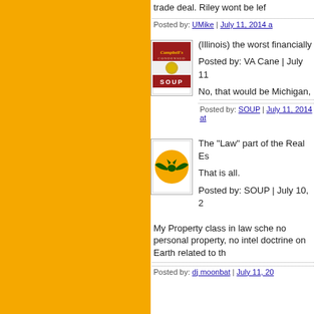trade deal. Riley wont be lef
Posted by: UMike | July 11, 2014 a
[Figure (illustration): Campbell's Soup can avatar]
(Illinois) the worst financially
Posted by: VA Cane | July 11
No, that would be Michigan,
Posted by: SOUP | July 11, 2014 at
[Figure (illustration): Orange circle with green bat avatar]
The "Law" part of the Real Es
That is all.
Posted by: SOUP | July 10, 2
My Property class in law sche no personal property, no intel doctrine on Earth related to th
Posted by: dj moonbat | July 11, 20